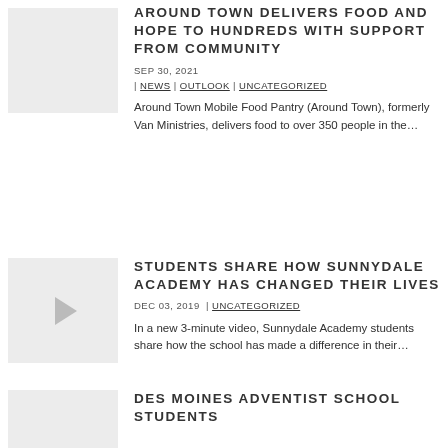[Figure (photo): Thumbnail image placeholder for food pantry article]
AROUND TOWN DELIVERS FOOD AND HOPE TO HUNDREDS WITH SUPPORT FROM COMMUNITY
SEP 30, 2021  |  NEWS  |  OUTLOOK  |  UNCATEGORIZED
Around Town Mobile Food Pantry (Around Town), formerly Van Ministries, delivers food to over 350 people in the…
[Figure (screenshot): Video thumbnail with play button for Sunnydale Academy article]
STUDENTS SHARE HOW SUNNYDALE ACADEMY HAS CHANGED THEIR LIVES
DEC 03, 2019  |  UNCATEGORIZED
In a new 3-minute video, Sunnydale Academy students share how the school has made a difference in their…
[Figure (photo): Thumbnail image placeholder for Des Moines Adventist School article]
DES MOINES ADVENTIST SCHOOL STUDENTS